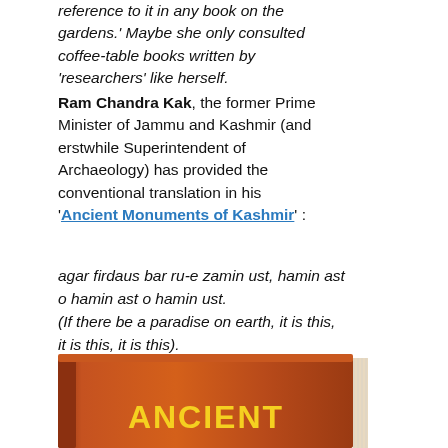reference to it in any book on the gardens.' Maybe she only consulted coffee-table books written by 'researchers' like herself.
Ram Chandra Kak, the former Prime Minister of Jammu and Kashmir (and erstwhile Superintendent of Archaeology) has provided the conventional translation in his 'Ancient Monuments of Kashmir' :
agar firdaus bar ru-e zamin ust, hamin ast o hamin ast o hamin ust.
(If there be a paradise on earth, it is this, it is this, it is this).
[Figure (photo): Book cover showing 'ANCIENT' text in yellow on a brown/orange book cover]